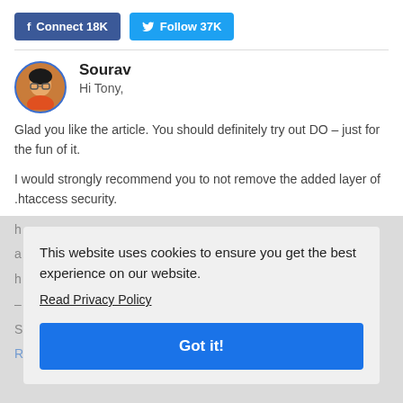f Connect 18K   Follow 37K
Sourav
Hi Tony,

Glad you like the article. You should definitely try out DO – just for the fun of it.

I would strongly recommend you to not remove the added layer of .htaccess security.
This website uses cookies to ensure you get the best experience on our website.
Read Privacy Policy
Got it!